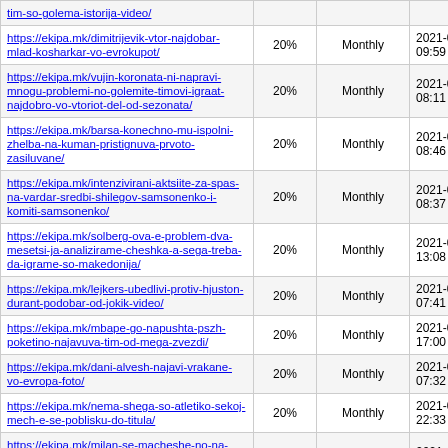| URL | Priority | Change Freq | Last Modified |
| --- | --- | --- | --- |
| https://ekipa.mk/tim-so-golema-istorija-video/ |  |  |  |
| https://ekipa.mk/dimitrijevik-vtor-najdobar-mlad-kosharkar-vo-evrokupot/ | 20% | Monthly | 2021-01-13 09:59 |
| https://ekipa.mk/vujin-koronata-ni-napravi-mnogu-problemi-no-golemite-timovi-igraat-najdobro-vo-vtoriot-del-od-sezonata/ | 20% | Monthly | 2021-01-13 08:11 |
| https://ekipa.mk/barsa-konechno-mu-ispolni-zhelba-na-kuman-pristignuva-prvoto-zasiluvane/ | 20% | Monthly | 2021-01-13 08:46 |
| https://ekipa.mk/intenzivirani-aktsiite-za-spas-na-vardar-sredbi-shilegov-samsonenko-i-komiti-samsonenko/ | 20% | Monthly | 2021-01-13 08:37 |
| https://ekipa.mk/solberg-ova-e-problem-dva-mesetsi-ja-analizirame-cheshka-a-sega-treba-da-igrame-so-makedonija/ | 20% | Monthly | 2021-01-13 13:08 |
| https://ekipa.mk/lejkers-ubedlivi-protiv-hjuston-durant-podobar-od-jokik-video/ | 20% | Monthly | 2021-01-13 07:41 |
| https://ekipa.mk/mbape-go-napushta-pszh-poketino-najavuva-tim-od-mega-zvezdi/ | 20% | Monthly | 2021-01-12 17:00 |
| https://ekipa.mk/dani-alvesh-najavi-vrakane-vo-evropa-foto/ | 20% | Monthly | 2021-01-13 07:32 |
| https://ekipa.mk/nema-shega-so-atletiko-sekoj-mech-e-se-poblisku-do-titula/ | 20% | Monthly | 2021-01-12 22:33 |
| https://ekipa.mk/milan-se-macheshe-no-na-penali-stigna-do-chetvrtfinaleto-vo-kupot-na-italija/ | 20% | Monthly | 2021-01-12 22:33 |
| https://ekipa.mk/pogba-go-reshi-bamli-junajted-e-osamen-na-vrvot/ | 20% | Monthly | 2021-01-12 22:13 |
| https://ekipa.mk/ronaldo-go-napushta-torino-juve-veke-ja-ima-prvata-ponuda/ | 20% | Monthly | 2021-01-12 20:34 |
| https://ekipa.mk/sad-po-stapkite-na-cheshka-otkazhan-nastapot-na-sp-2021/ | 20% | Monthly | 2021-01-13 13:10 |
| https://ekipa.mk/komiti-dali-samsonenko-e- | 20% | Monthly | 2021-01-12 |